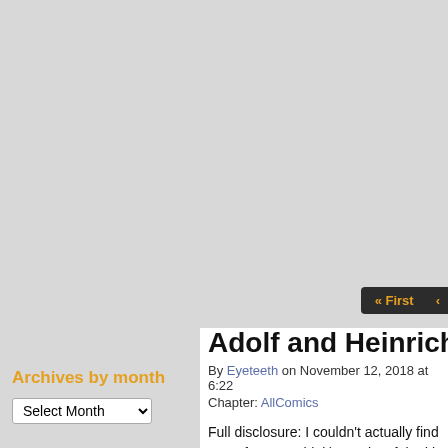Archives by month
Select Month
Adolf and Heinrich Sitt
By Eyeteeth on November 12, 2018 at 6:22
Chapter: AllComics
Full disclosure: I couldn’t actually find “sour forest,” I think), so I just faked it (and their maid!) get out of Austria, h and he believed in the elimination of could be made for outliers like Freud through the war and died in the seve resolved the cognitive dissonance his
As for Dr. Bloch, “Hitler makes a hug his beloved mother in her final illness was true, though the painting has sin place. Either way, what is undoubted Bloch emigrate to New York but one